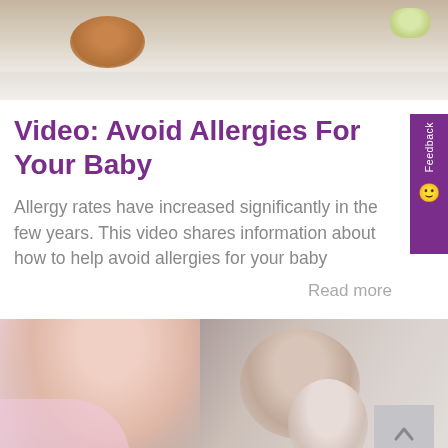[Figure (photo): Top banner photo showing food items on a white plate/surface, blurred background]
Video: Avoid Allergies For Your Baby
Allergy rates have increased significantly in the few years. This video shares information about how to help avoid allergies for your baby
Read more
[Figure (photo): Bottom photo showing a happy family — a woman, a man, and babies/young children — in a bright setting]